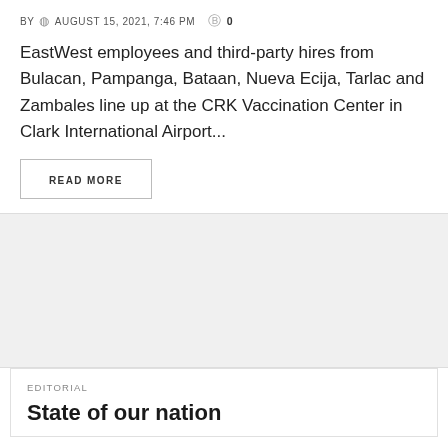BY  AUGUST 15, 2021, 7:46 PM  0
EastWest employees and third-party hires from Bulacan, Pampanga, Bataan, Nueva Ecija, Tarlac and Zambales line up at the CRK Vaccination Center in Clark International Airport...
READ MORE
[Figure (other): Gray advertisement block]
EDITORIAL
State of our nation